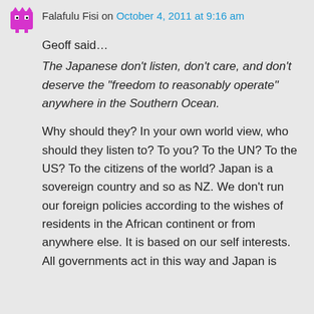Falafulu Fisi on October 4, 2011 at 9:16 am
Geoff said…
The Japanese don't listen, don't care, and don't deserve the “freedom to reasonably operate” anywhere in the Southern Ocean.
Why should they? In your own world view, who should they listen to? To you? To the UN? To the US? To the citizens of the world? Japan is a sovereign country and so as NZ. We don’t run our foreign policies according to the wishes of residents in the African continent or from anywhere else. It is based on our self interests. All governments act in this way and Japan is